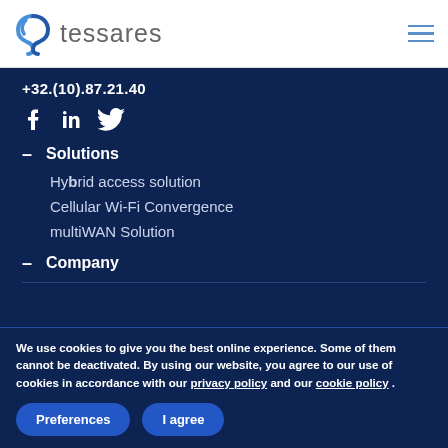[Figure (logo): Tessares company logo with swirl icon and 'tessares' text]
+32.(10).87.21.40
[Figure (illustration): Social media icons: Facebook, LinkedIn, Twitter]
– Solutions
Hybrid access solution
Cellular Wi-Fi Convergence
multiWAN Solution
– Company
We use cookies to give you the best online experience. Some of them cannot be deactivated. By using our website, you agree to our use of cookies in accordance with our privacy policy and our cookie policy .